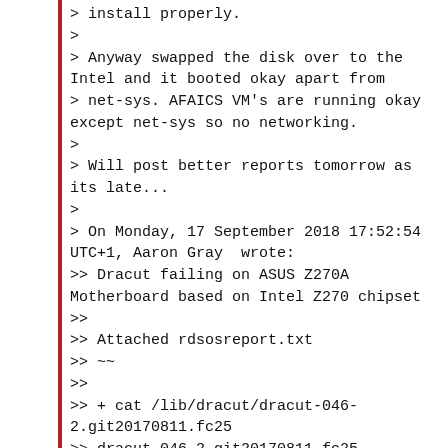> install properly.
>
> Anyway swapped the disk over to the Intel and it booted okay apart from
> net-sys. AFAICS VM's are running okay except net-sys so no networking.
>
> Will post better reports tomorrow as its late...
>
> On Monday, 17 September 2018 17:52:54 UTC+1, Aaron Gray  wrote:
>> Dracut failing on ASUS Z270A Motherboard based on Intel Z270 chipset
>>
>> Attached rdsosreport.txt
>> ~~
>>
>> + cat /lib/dracut/dracut-046-2.git20170811.fc25
>> dracut-046-2.git20170811.fc25
> ...